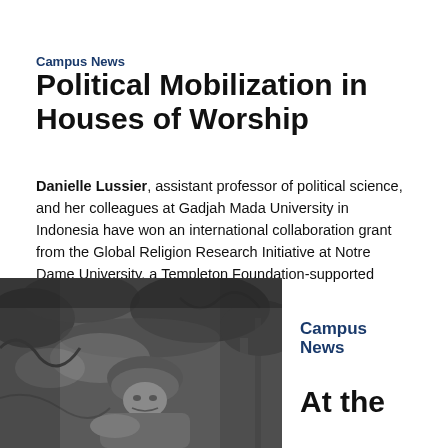Campus News
Political Mobilization in Houses of Worship
Danielle Lussier, assistant professor of political science, and her colleagues at Gadjah Mada University in Indonesia have won an international collaboration grant from the Global Religion Research Initiative at Notre Dame University, a Templeton Foundation-supported project....
[Figure (photo): Black and white photograph of a soldier in a helmet resting in dense jungle foliage]
Campus News
At the